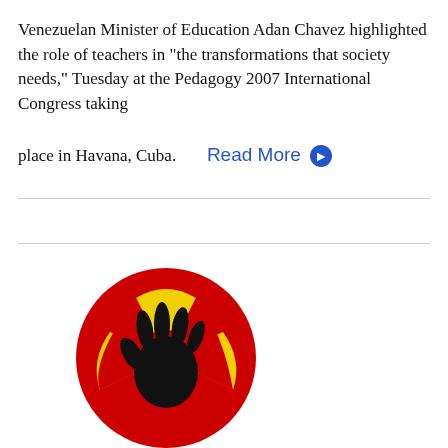Venezuelan Minister of Education Adan Chavez highlighted the role of teachers in "the transformations that society needs," Tuesday at the Pedagogy 2007 International Congress taking place in Havana, Cuba.   Read More ➔
[Figure (illustration): A circular image with a red background and a radioactive/hazard symbol rendered in yellow, overlaid with a black handprint silhouette in the center.]